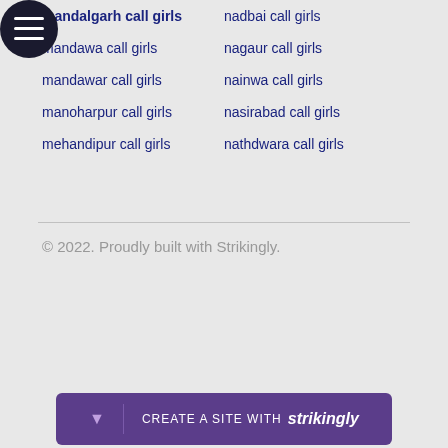mandalgarh call girls
nadbai call girls
mandawa call girls
nagaur call girls
mandawar call girls
nainwa call girls
manoharpur call girls
nasirabad call girls
mehandipur call girls
nathdwara call girls
© 2022. Proudly built with Strikingly.
[Figure (other): Strikingly website builder promotional bar at the bottom with purple background and 'CREATE A SITE WITH strikingly' text]